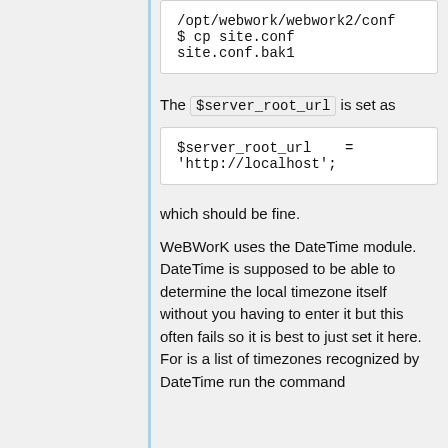/opt/webwork/webwork2/conf
$ cp site.conf
site.conf.bak1
The $server_root_url is set as
$server_root_url    =
'http://localhost';
which should be fine.
WeBWorK uses the DateTime module. DateTime is supposed to be able to determine the local timezone itself without you having to enter it but this often fails so it is best to just set it here. For is a list of timezones recognized by DateTime run the command